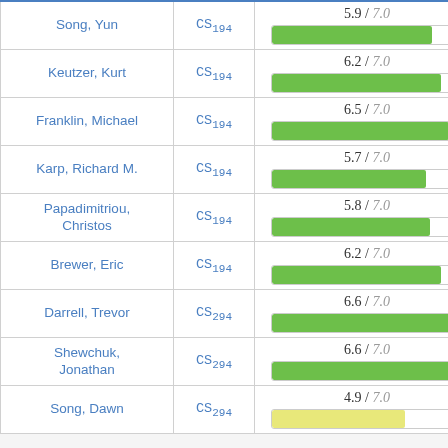| Name | Course | Score |
| --- | --- | --- |
| Song, Yun | CS194 | 5.9 / 7.0 |
| Keutzer, Kurt | CS194 | 6.2 / 7.0 |
| Franklin, Michael | CS194 | 6.5 / 7.0 |
| Karp, Richard M. | CS194 | 5.7 / 7.0 |
| Papadimitriou, Christos | CS194 | 5.8 / 7.0 |
| Brewer, Eric | CS194 | 6.2 / 7.0 |
| Darrell, Trevor | CS294 | 6.6 / 7.0 |
| Shewchuk, Jonathan | CS294 | 6.6 / 7.0 |
| Song, Dawn | CS294 | 4.9 / 7.0 |